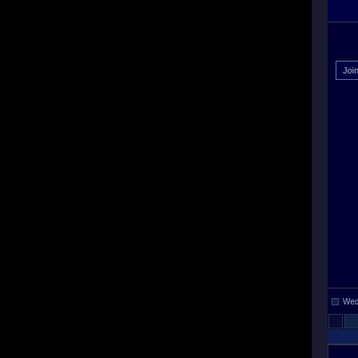Obsessor
Joined: Nov 07, 2002
But yeah, whatever, should try something, to be getting much
anime is teh s uck
Play City of Heroes
Wed Jul 09, 2003 11:19 am
PROFILE
SE
+ USER STATS +
JohnnyPsycho
Veteran
Joined: Nov 14, 2002
Post subject:
Okay, okay, CP, yo ready?
Start dating more!
That's it! And believe same way as you date does not auto establish a sort of date doesn't have expensive dinners together, or cruise